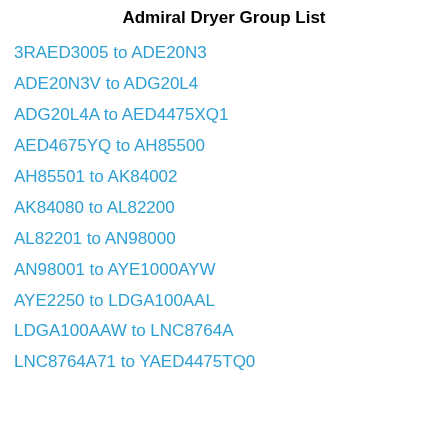Admiral Dryer Group List
3RAED3005 to ADE20N3
ADE20N3V to ADG20L4
ADG20L4A to AED4475XQ1
AED4675YQ to AH85500
AH85501 to AK84002
AK84080 to AL82200
AL82201 to AN98000
AN98001 to AYE1000AYW
AYE2250 to LDGA100AAL
LDGA100AAW to LNC8764A
LNC8764A71 to YAED4475TQ0